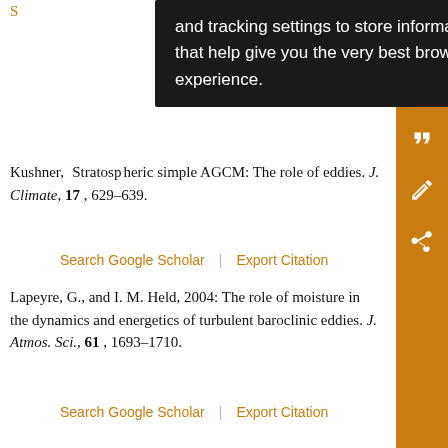Kushner, ... Stratospheric ... simple AGCM: The role of eddies. J. Climate, 17, 629–639.
Search Google Scholar | Export Citation
Lapeyre, G., and I. M. Held, 2004: The role of moisture in the dynamics and energetics of turbulent baroclinic eddies. J. Atmos. Sci., 61, 1693–1710.
Search Google Scholar | Export Citation
Rhines, P. B., 1975: Waves and turbulence on a beta-plane. J. Fluid Mech., 69, 417–443.
Search Google Scholar | Export Citation